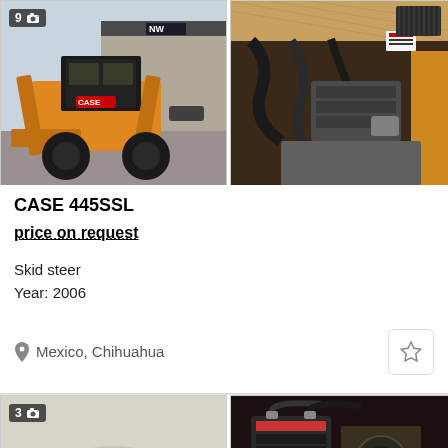[Figure (photo): Orange CASE 445SSL skid steer loader parked in front of a modern building, with a photo count badge showing 9 photos]
[Figure (photo): Close-up of engine compartment of skid steer showing mechanical parts, hoses, and components]
CASE 445SSL
price on request
Skid steer
Year: 2006
Mexico, Chihuahua
[Figure (photo): Second listing partial view - left image showing light-colored background with small figure, photo count badge showing 3 photos]
[Figure (photo): Second listing partial view - right image showing dark engine or machinery parts close-up]